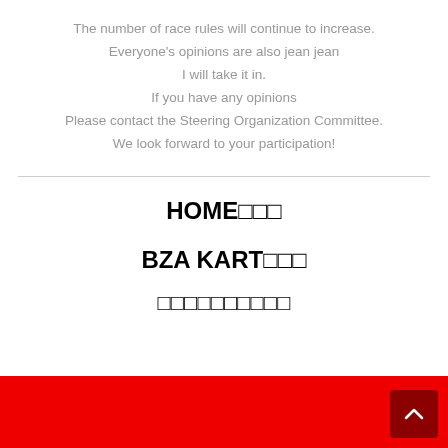The number of race rules will continue to increase. Everyone's opinions are also jean jean I will take it in. If you have any opinions Please contact the Steering Organization Committee. We look forward to your participation!
HOME□□□
BZA KART□□□
□□□□□□□□□□